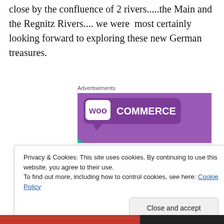close by the confluence of 2 rivers.....the Main and the Regnitz Rivers.... we were  most certainly looking forward to exploring these new German treasures.
Advertisements
[Figure (screenshot): WooCommerce advertisement banner with purple header, teal and blue decorative triangles, white background, text: 'How to start selling subscriptions online']
Privacy & Cookies: This site uses cookies. By continuing to use this website, you agree to their use.
To find out more, including how to control cookies, see here: Cookie Policy
Close and accept